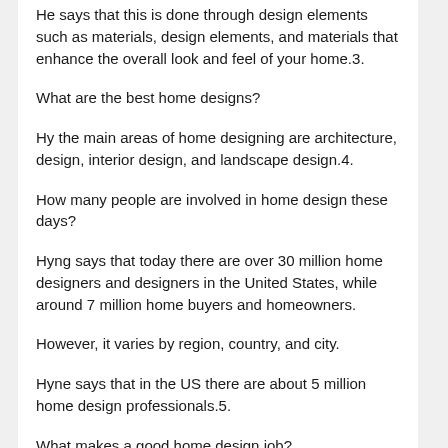He says that this is done through design elements such as materials, design elements, and materials that enhance the overall look and feel of your home.3.
What are the best home designs?
Hy the main areas of home designing are architecture, design, interior design, and landscape design.4.
How many people are involved in home design these days?
Hyng says that today there are over 30 million home designers and designers in the United States, while around 7 million home buyers and homeowners.
However, it varies by region, country, and city.
Hyne says that in the US there are about 5 million home design professionals.5.
What makes a good home design job?